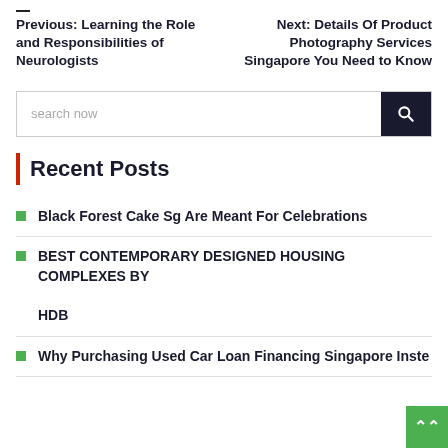Previous: Learning the Role and Responsibilities of Neurologists
Next: Details Of Product Photography Services Singapore You Need to Know
search now
Recent Posts
Black Forest Cake Sg Are Meant For Celebrations
BEST CONTEMPORARY DESIGNED HOUSING COMPLEXES BY HDB
Why Purchasing Used Car Loan Financing Singapore Inste